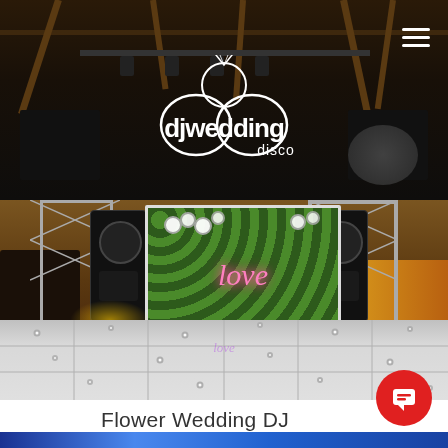[Figure (screenshot): DJ Wedding Disco website screenshot showing logo on dark background with barn interior]
[Figure (photo): Wedding venue setup with green hedge wall displaying 'love' neon sign, speakers, white LED dance floor, and flower decorations in a barn]
Flower Wedding DJ
[Figure (photo): Bottom strip showing colorful lights]